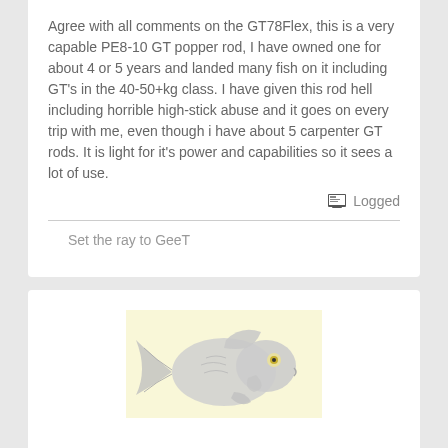Agree with all comments on the GT78Flex, this is a very capable PE8-10 GT popper rod, I have owned one for about 4 or 5 years and landed many fish on it including GT's in the 40-50+kg class. I have given this rod hell including horrible high-stick abuse and it goes on every trip with me, even though i have about 5 carpenter GT rods. It is light for it's power and capabilities so it sees a lot of use.
Logged
Set the ray to GeeT
[Figure (illustration): Illustration of a fish (possibly a GT - Giant Trevally) on a pale yellow background, showing the fish in a silver/grey color with orange/yellow eyes]